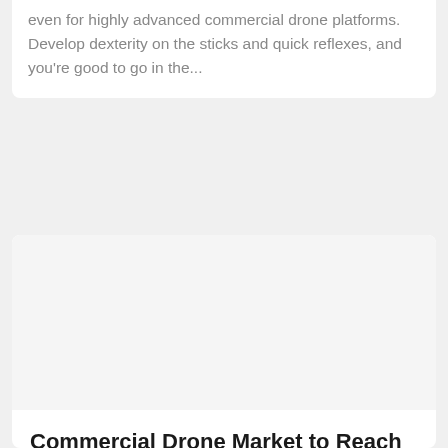even for highly advanced commercial drone platforms. Develop dexterity on the sticks and quick reflexes, and you're good to go in the...
[Figure (photo): Blank/white image placeholder for article thumbnail]
Commercial Drone Market to Reach $55B by 2027
Aug 2, 2021 | Blog, Happenings